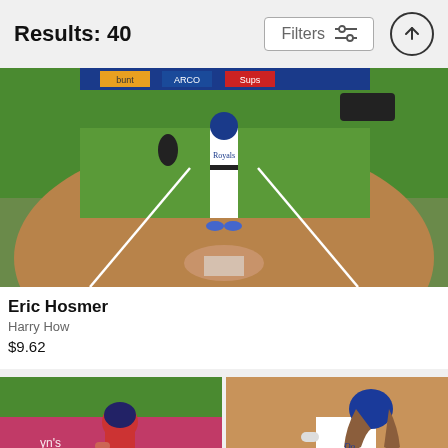Results: 40
[Figure (photo): Baseball player in Kansas City Royals white uniform standing at home plate on baseball diamond, green grass outfield visible with stadium signage (ARCO, Sups), cars parked in background, another person kneeling on field]
Eric Hosmer
Harry How
$9.62
[Figure (photo): Baseball player in red uniform in dugout area with green background]
[Figure (photo): Los Angeles Dodgers player with long hair running, wearing blue Dodgers uniform]